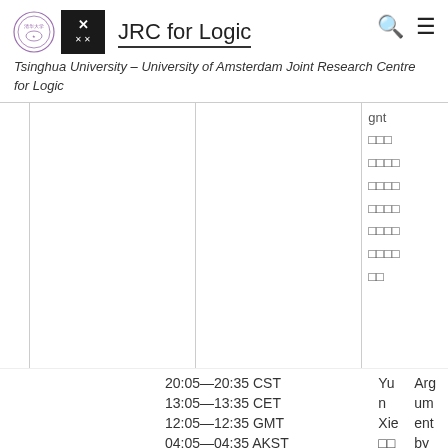JRC for Logic
Tsinghua University – University of Amsterdam Joint Research Centre for Logic
| Time | Speaker | Topic |
| --- | --- | --- |
| 20:05—20:35 CST 13:05—13:35 CET 12:05—12:35 GMT 04:05—04:35 AKST | Yun Xie □□ | Argument by |